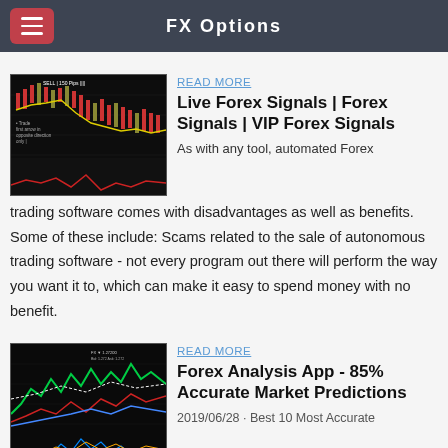FX Options
[Figure (screenshot): Forex candlestick chart with indicators showing SELL 150 Pips and trade direction annotations]
READ MORE
Live Forex Signals | Forex Signals | VIP Forex Signals
As with any tool, automated Forex trading software comes with disadvantages as well as benefits. Some of these include: Scams related to the sale of autonomous trading software - not every program out there will perform the way you want it to, which can make it easy to spend money with no benefit.
[Figure (screenshot): Forex technical analysis chart with green, red, blue and white lines showing market predictions]
READ MORE
Forex Analysis App - 85% Accurate Market Predictions
2019/06/28 · Best 10 Most Accurate